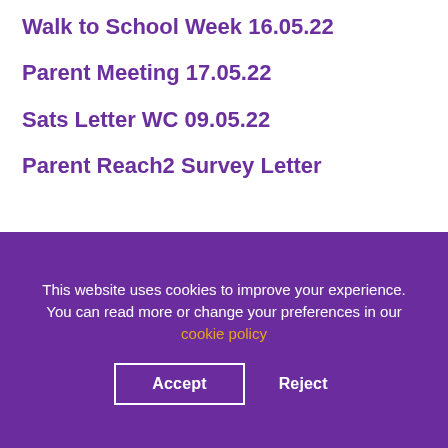Walk to School Week 16.05.22
Parent Meeting 17.05.22
Sats Letter WC 09.05.22
Parent Reach2 Survey Letter
This website uses cookies to improve your experience. You can read more or change your preferences in our cookie policy
Accept  Reject